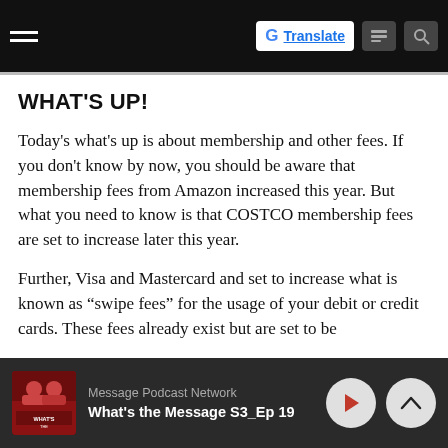Navigation bar with hamburger menu and Google Translate button
WHAT'S UP!
Today's what's up is about membership and other fees. If you don't know by now, you should be aware that membership fees from Amazon increased this year. But what you need to know is that COSTCO membership fees are set to increase later this year.
Further, Visa and Mastercard and set to increase what is known as “swipe fees” for the usage of your debit or credit cards. These fees already exist but are set to be
Message Podcast Network — What's the Message S3_Ep 19